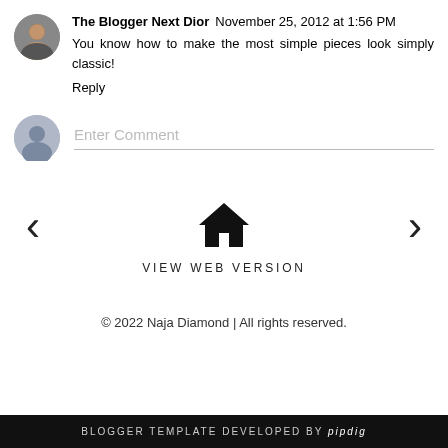The Blogger Next Dior  November 25, 2012 at 1:56 PM
You know how to make the most simple pieces look simply classic!
Reply
[Figure (other): Comment input field with anonymous avatar icon and placeholder text 'Enter Comment']
[Figure (other): Navigation bar with left arrow, home icon, right arrow, and VIEW WEB VERSION text]
© 2022 Naja Diamond | All rights reserved.
BLOGGER TEMPLATE DEVELOPED BY pipdig